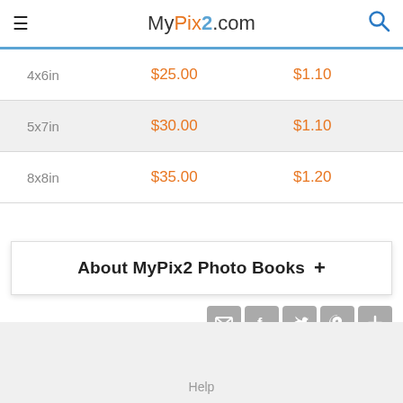MyPix2.com
| 4x6in | $25.00 | $1.10 |
| 5x7in | $30.00 | $1.10 |
| 8x8in | $35.00 | $1.20 |
About MyPix2 Photo Books +
[Figure (infographic): Row of social sharing icons: email, Facebook, Twitter, Pinterest, and a plus/more icon, each in a grey rounded square button]
Help